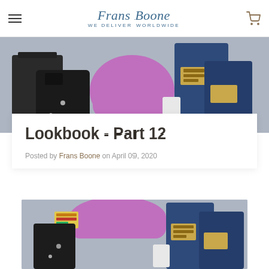Frans Boone — WE DELIVER WORLDWIDE
[Figure (photo): Stack of folded jeans and clothing items including black jacket, purple/pink sweatshirt, and dark denim jeans with branded labels, arranged against a grey background]
Lookbook - Part 12
Posted by Frans Boone on April 09, 2020
[Figure (photo): Close-up of a pile of folded denim jeans and a purple/pink sweatshirt with branded labels, against a grey background]